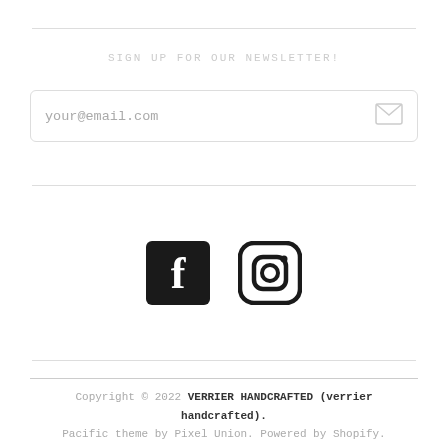SIGN UP FOR OUR NEWSLETTER!
your@email.com
[Figure (other): Facebook and Instagram social media icons]
Copyright © 2022 VERRIER HANDCRAFTED (verrier handcrafted). Pacific theme by Pixel Union. Powered by Shopify.